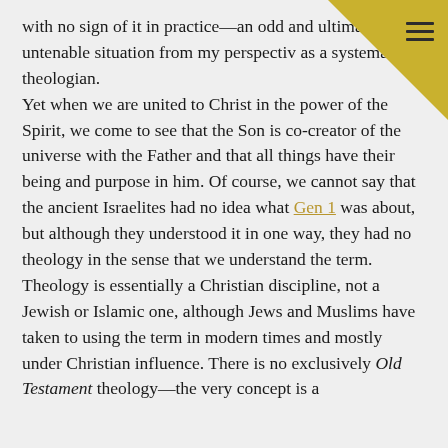with no sign of it in practice—an odd and ultimately untenable situation from my perspective as a systematic theologian.
Yet when we are united to Christ in the power of the Spirit, we come to see that the Son is co-creator of the universe with the Father and that all things have their being and purpose in him. Of course, we cannot say that the ancient Israelites had no idea what Gen 1 was about, but although they understood it in one way, they had no theology in the sense that we understand the term. Theology is essentially a Christian discipline, not a Jewish or Islamic one, although Jews and Muslims have taken to using the term in modern times and mostly under Christian influence. There is no exclusively Old Testament theology—the very concept is a